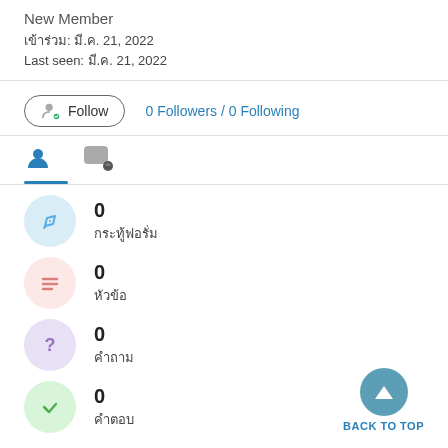New Member
เข้าร่วม: มี.ค. 21, 2022
Last seen: มี.ค. 21, 2022
Follow   0 Followers / 0 Following
0
กระทู้ฟอรั่ม
0
หัวข้อ
0
คำถาม
0
คำตอบ
BACK TO TOP